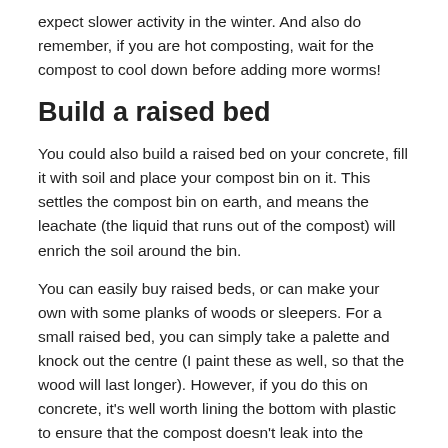expect slower activity in the winter. And also do remember, if you are hot composting, wait for the compost to cool down before adding more worms!
Build a raised bed
You could also build a raised bed on your concrete, fill it with soil and place your compost bin on it. This settles the compost bin on earth, and means the leachate (the liquid that runs out of the compost) will enrich the soil around the bin.
You can easily buy raised beds, or can make your own with some planks of woods or sleepers. For a small raised bed, you can simply take a palette and knock out the centre (I paint these as well, so that the wood will last longer). However, if you do this on concrete, it's well worth lining the bottom with plastic to ensure that the compost doesn't leak into the ground.
Compost systems for composting on concrete